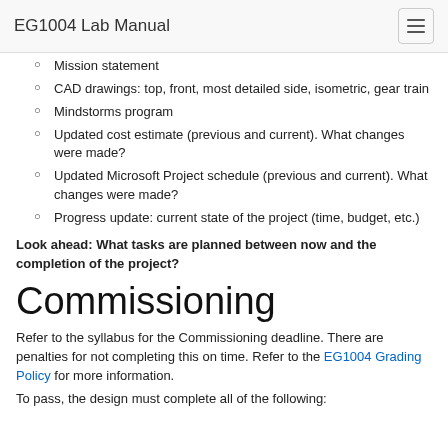EG1004 Lab Manual
Mission statement
CAD drawings: top, front, most detailed side, isometric, gear train
Mindstorms program
Updated cost estimate (previous and current). What changes were made?
Updated Microsoft Project schedule (previous and current). What changes were made?
Progress update: current state of the project (time, budget, etc.)
Look ahead: What tasks are planned between now and the completion of the project?
Commissioning
Refer to the syllabus for the Commissioning deadline. There are penalties for not completing this on time. Refer to the EG1004 Grading Policy for more information.
To pass, the design must complete all of the following: